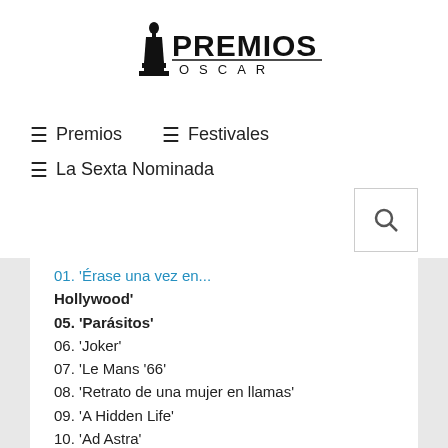[Figure (logo): Premios Oscar logo with Oscar statuette silhouette and text PREMIOS OSCAR]
≡ Premios   ≡ Festivales
≡ La Sexta Nominada
01. 'Érase una vez en... Hollywood'
05. 'Parásitos'
06. 'Joker'
07. 'Le Mans '66'
08. 'Retrato de una mujer en llamas'
09. 'A Hidden Life'
10. 'Ad Astra'
MEJOR MONTAJE
01. 'El irlandés'